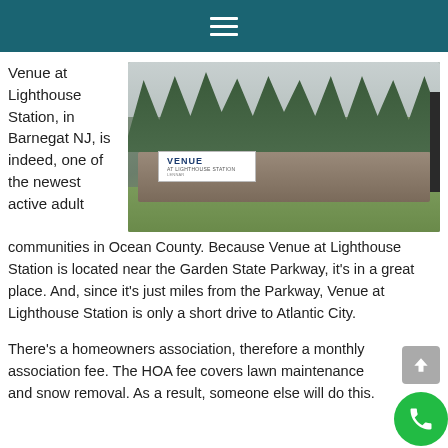Navigation menu icon (hamburger)
Venue at Lighthouse Station, in Barnegat NJ, is indeed, one of the newest active adult communities in Ocean County. Because Venue at Lighthouse Station is located near the Garden State Parkway, it’s in a great place. And, since it’s just miles from the Parkway, Venue at Lighthouse Station is only a short drive to Atlantic City.
[Figure (photo): Entrance sign for Venue at Lighthouse Station community, showing a stone monument with the VENUE AT LIGHTHOUSE STATION logo and Lennar branding, surrounded by shrubs and trees]
There’s a homeowners association, therefore a monthly association fee. The HOA fee covers lawn maintenance and snow removal. As a result, someone else will do this.
Buying New Construction